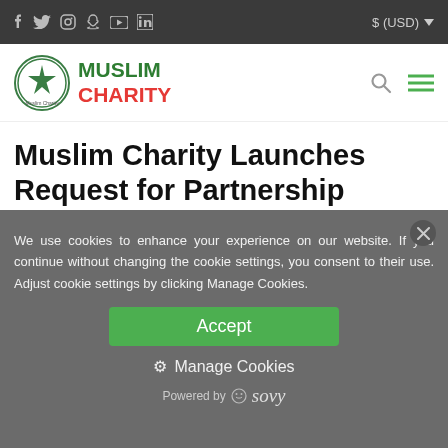Social icons (f, Twitter, Instagram, Snapchat, YouTube, LinkedIn) | $ (USD)
[Figure (logo): Muslim Charity logo with green circular emblem containing a star, and text MUSLIM CHARITY in green and red]
Muslim Charity Launches Request for Partnership Grants (RFPG) in Bangladesh
We use cookies to enhance your experience on our website. If you continue without changing the cookie settings, you consent to their use. Adjust cookie settings by clicking Manage Cookies.
Accept
⚙ Manage Cookies
Powered by sovy